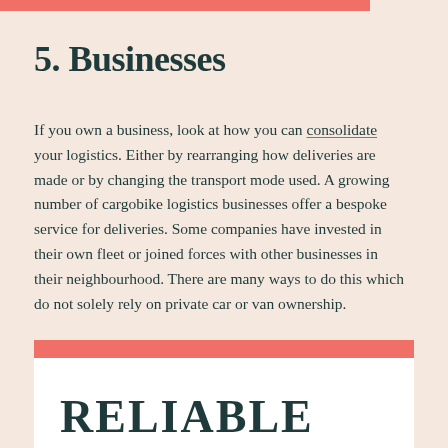5. Businesses
If you own a business, look at how you can consolidate your logistics. Either by rearranging how deliveries are made or by changing the transport mode used. A growing number of cargobike logistics businesses offer a bespoke service for deliveries. Some companies have invested in their own fleet or joined forces with other businesses in their neighbourhood. There are many ways to do this which do not solely rely on private car or van ownership.
RELIABLE